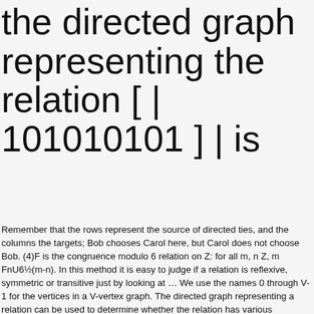the directed graph representing the relation [ |  101010101 ] | is
Remember that the rows represent the source of directed ties, and the columns the targets; Bob chooses Carol here, but Carol does not choose Bob. (4)F is the congruence modulo 6 relation on Z: for all m, n Z, m FnU6½(m-n). In this method it is easy to judge if a relation is reflexive, symmetric or transitive just by looking at … We use the names 0 through V-1 for the vertices in a V-vertex graph. The directed graph representing a relation can be used to determine whether the relation has various properties. Glossary. Directed graphs have adjacency matrices just like undirected graphs. Relations as Directed graphs: A directed graph consists of nodes or vertices connected by directed edges or arcs. A relation is symmetric if … In order to represent this relation using a simpler graph, we use a Hasse Diagram, with a partial order relation defined on a finite set. Each tie or relation may be directed (i.e. Definition. For each ordered pair (x, y) in the relation R, there will be a directed edge from the vertex 'x' to vertex 'y'. Sometimes edges of graphs need to point in a direction. & Stack Exchange network consists